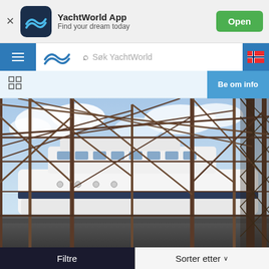[Figure (screenshot): YachtWorld App banner with logo, app name, tagline 'Find your dream today', and green 'Open' button]
[Figure (screenshot): YachtWorld navigation bar with hamburger menu, logo, search field 'Søk YachtWorld', and Norwegian flag icon]
[Figure (screenshot): Toolbar with grid icon on left and blue 'Be om info' button on right]
[Figure (photo): Large yacht in a dry dock or shipyard, surrounded by metal scaffolding/framework, blue sky with clouds in background]
Filtre
Sorter etter